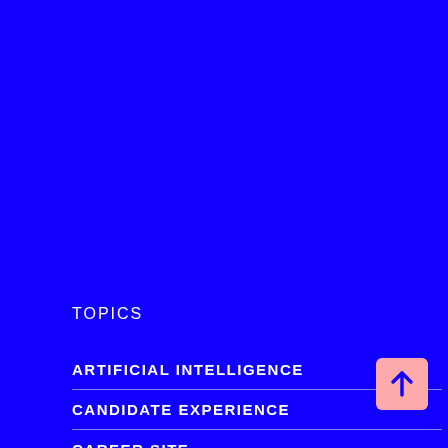TOPICS
ARTIFICIAL INTELLIGENCE
CANDIDATE EXPERIENCE
CAREER SITE
[Figure (illustration): Pink rounded square button with a dark blue upward arrow icon, positioned at bottom right]